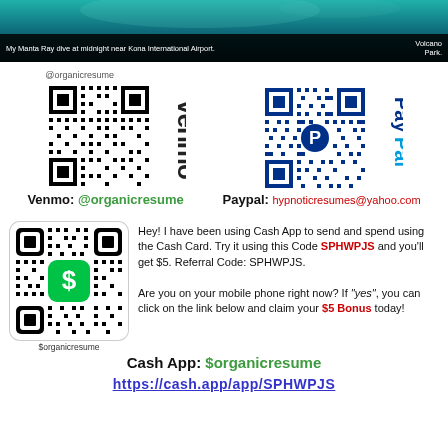[Figure (photo): Underwater photo strip showing manta ray dive scene near Kona International Airport at midnight]
My Manta Ray dive at midnight near Kona International Airport.
Volcano Park.
[Figure (other): QR code for Venmo @organicresume with Venmo logo]
[Figure (other): QR code for PayPal hypnoticresumes@yahoo.com with PayPal logo]
Venmo: @organicresume    Paypal: hypnoticresumes@yahoo.com
[Figure (other): QR code for Cash App $organicresume with green dollar sign icon]
Hey! I have been using Cash App to send and spend using the Cash Card. Try it using this Code SPHWPJS and you'll get $5. Referral Code: SPHWPJS.

Are you on your mobile phone right now? If "yes", you can click on the link below and claim your $5 Bonus today!
Cash App: $organicresume
https://cash.app/app/SPHWPJS